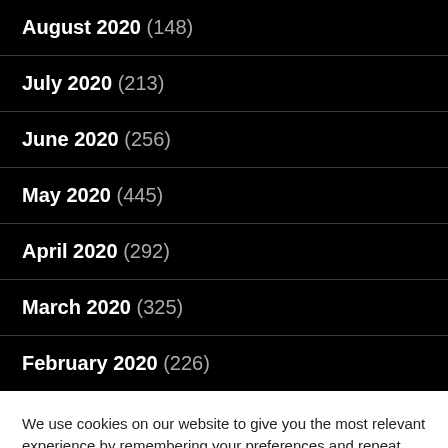August 2020 (148)
July 2020 (213)
June 2020 (256)
May 2020 (445)
April 2020 (292)
March 2020 (325)
February 2020 (226)
We use cookies on our website to give you the most relevant experience by remembering your preferences and repeat visits. By clicking “Accept All”, you consent to the use of ALL the cookies. However, you may visit "Cookie Settings" to provide a controlled consent.
Cookie Settings | Accept All